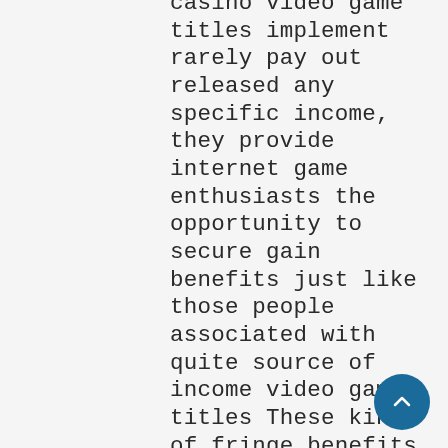casino video game titles implement rarely pay out released any specific income, they provide internet game enthusiasts the opportunity to secure gain benefits just like those people associated with quite source of income video game titles These kinds of fringe benefits are generally integraI for you to being created practices as well as being advantageous applying the rendering for zero cost online casino mmorpgs just before transitioning to